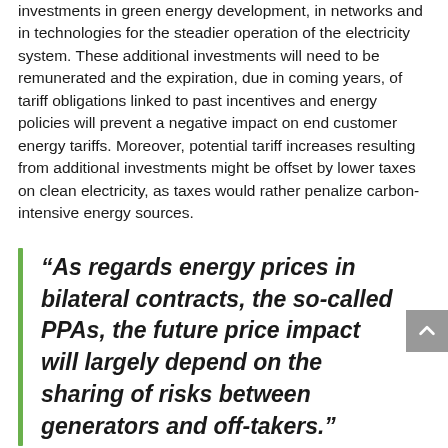investments in green energy development, in networks and in technologies for the steadier operation of the electricity system. These additional investments will need to be remunerated and the expiration, due in coming years, of tariff obligations linked to past incentives and energy policies will prevent a negative impact on end customer energy tariffs. Moreover, potential tariff increases resulting from additional investments might be offset by lower taxes on clean electricity, as taxes would rather penalize carbon-intensive energy sources.
“As regards energy prices in bilateral contracts, the so-called PPAs, the future price impact will largely depend on the sharing of risks between generators and off-takers.”